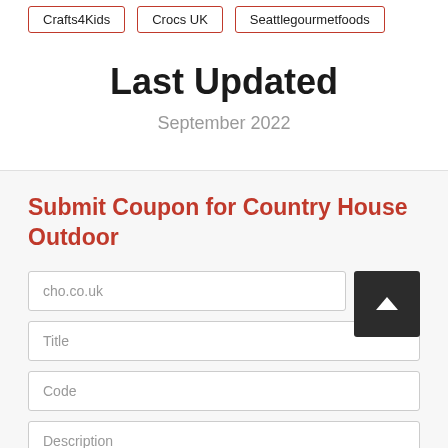Crafts4Kids
Crocs UK
Seattlegourmetfoods
Last Updated
September 2022
Submit Coupon for Country House Outdoor
cho.co.uk
Title
Code
Description